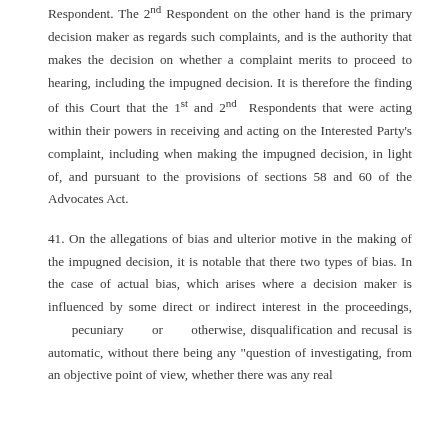Respondent. The 2nd Respondent on the other hand is the primary decision maker as regards such complaints, and is the authority that makes the decision on whether a complaint merits to proceed to hearing, including the impugned decision. It is therefore the finding of this Court that the 1st and 2nd Respondents that were acting within their powers in receiving and acting on the Interested Party's complaint, including when making the impugned decision, in light of, and pursuant to the provisions of sections 58 and 60 of the Advocates Act.
41. On the allegations of bias and ulterior motive in the making of the impugned decision, it is notable that there two types of bias. In the case of actual bias, which arises where a decision maker is influenced by some direct or indirect interest in the proceedings, pecuniary or otherwise, disqualification and recusal is automatic, without there being any "question of investigating, from an objective point of view, whether there was any real...